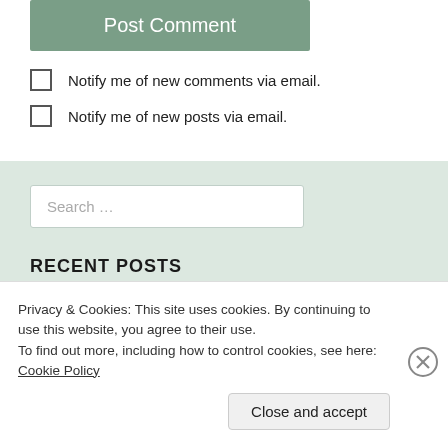[Figure (screenshot): Green 'Post Comment' button]
Notify me of new comments via email.
Notify me of new posts via email.
Search ...
RECENT POSTS
“Desire”: A New Poem
Privacy & Cookies: This site uses cookies. By continuing to use this website, you agree to their use.
To find out more, including how to control cookies, see here: Cookie Policy
Close and accept